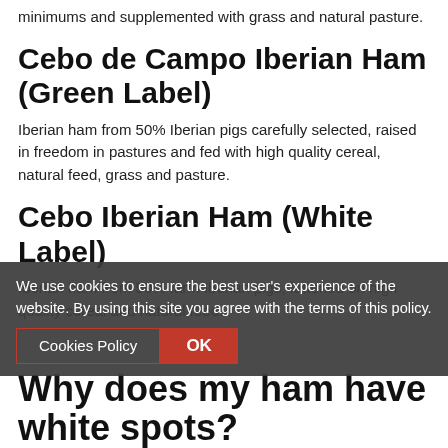minimums and supplemented with grass and natural pasture.
Cebo de Campo Iberian Ham (Green Label)
Iberian ham from 50% Iberian pigs carefully selected, raised in freedom in pastures and fed with high quality cereal, natural feed, grass and pasture.
Cebo Iberian Ham (White Label)
Iberian ham from 50% farm Iberian pigs, fattened on high quality cereal and natural feed.
We use cookies to ensure the best user's experience of the website. By using this site you agree with the terms of this policy.
Why does my ham have white spots?